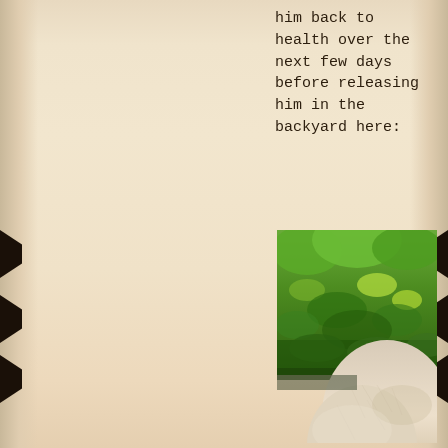him back to health over the next few days before releasing him in the backyard here:
[Figure (photo): A close-up photograph of a light-colored animal (likely a squirrel or small mammal with sandy/white fur) in a backyard garden setting, with lush green leaves and foliage visible in the background.]